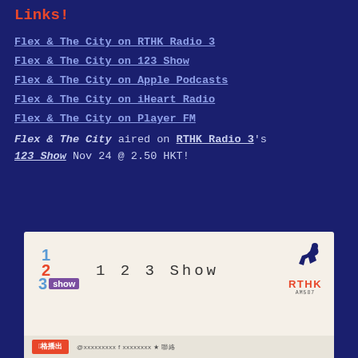Links!
Flex & The City on RTHK Radio 3
Flex & The City on 123 Show
Flex & The City on Apple Podcasts
Flex & The City on iHeart Radio
Flex & The City on Player FM
Flex & The City aired on RTHK Radio 3's 123 Show Nov 24 @ 2.50 HKT!
[Figure (screenshot): 123 Show RTHK Radio 3 logo card showing colorful number blocks 1, 2, 3 with 'show' in purple, text '1 2 3 Show', and RTHK logo on the right with red listen button at bottom]